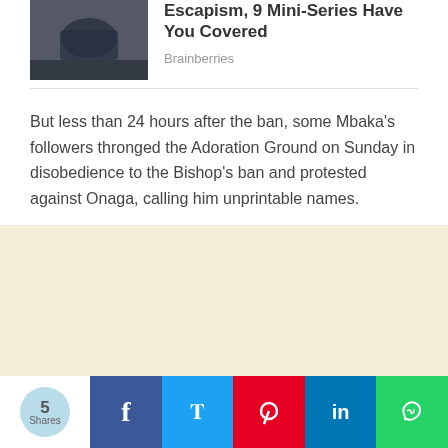[Figure (photo): A person crawling or crouching near a doorway, wearing dark blue clothing]
Escapism, 9 Mini-Series Have You Covered
Brainberries
But less than 24 hours after the ban, some Mbaka’s followers thronged the Adoration Ground on Sunday in disobedience to the Bishop’s ban and protested against Onaga, calling him unprintable names.
[Figure (other): Advertisement area with beige/cream background]
5 Shares | Facebook | Twitter | Pinterest | LinkedIn | WhatsApp